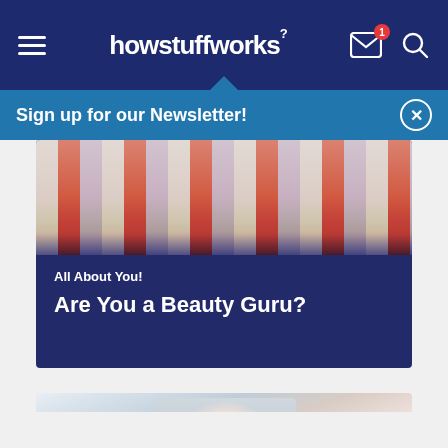howstuffworks
Sign up for our Newsletter!
[Figure (photo): Cropped image of a person wearing a striped shirt, partially visible in the upper portion of the top card]
All About You!
Are You a Beauty Guru?
[Figure (photo): Photo of a young woman with a white towel wrapped around her hair, applying face cream while looking in a mirror]